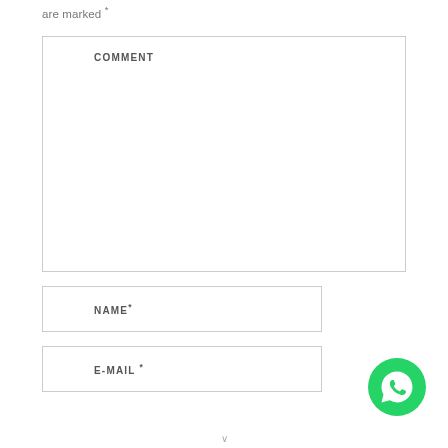are marked *
[Figure (screenshot): Comment text area form field with label COMMENT]
[Figure (screenshot): Name input field with label NAME*]
[Figure (screenshot): E-Mail input field with label E-MAIL*]
[Figure (logo): WhatsApp green circle button icon]